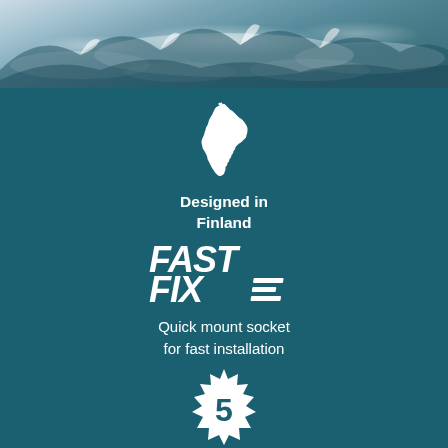[Figure (photo): Snowy mountain landscape background photo at the top of the page]
[Figure (illustration): White silhouette of Finland map]
Designed in Finland
[Figure (logo): FAST FIXE logo in white bold italic stylized text]
Quick mount socket for fast installation
[Figure (illustration): White starburst/badge shape with the number 5 inside]